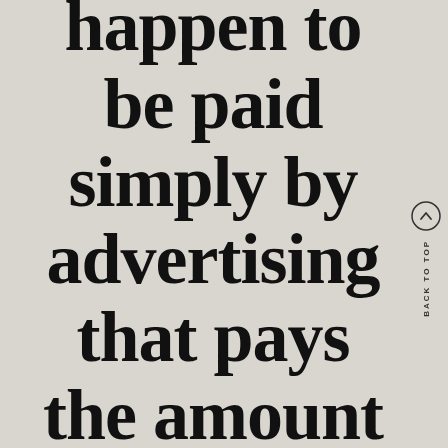happen to be paid simply by advertising that pays the amount to their i...